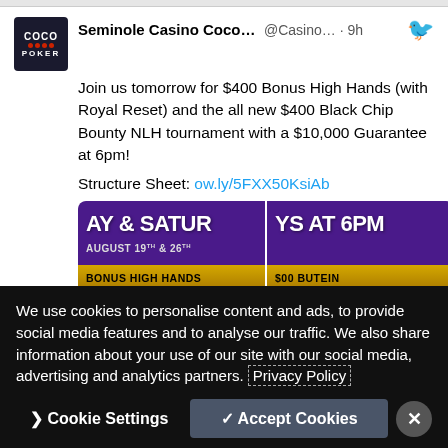[Figure (screenshot): Twitter/X post from Seminole Casino Coco... account (@Casino...) posted 9h ago. Avatar shows COCO POKER logo on dark background. Content: Join us tomorrow for $400 Bonus High Hands (with Royal Reset) and the all new $400 Black Chip Bounty NLH tournament with a $10,000 Guarantee at 6pm! Structure Sheet: ow.ly/5FXX50KsiAb. Attached promotional image shows purple background with text: AY & SATURDAYS AT 6PM, AUGUST 19th & 26th, BONUS HIGH HANDS / $400 BUTEIN, FEATURING ROYAL RESET / ACK CHIP BOUNTY.]
We use cookies to personalise content and ads, to provide social media features and to analyse our traffic. We also share information about your use of our site with our social media, advertising and analytics partners. Privacy Policy
Cookie Settings
✓ Accept Cookies